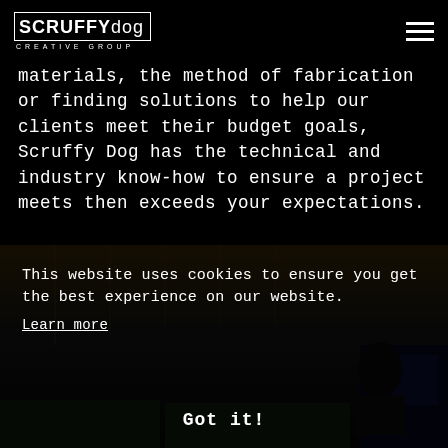Scruffy Dog Creative Group
materials, the method of fabrication or finding solutions to help our clients meet their budget goals, Scruffy Dog has the technical and industry know-how to ensure a project meets then exceeds your expectations.
[Figure (photo): Dark photo of a person working at a multi-monitor computer workstation in a dim office/studio environment with overhead architectural elements visible]
This website uses cookies to ensure you get the best experience on our website. Learn more
Got it!